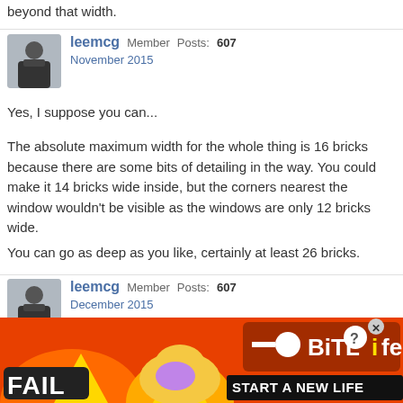beyond that width.
leemcg Member Posts: 607
November 2015
Yes, I suppose you can...
The absolute maximum width for the whole thing is 16 bricks because there are some bits of detailing in the way. You could make it 14 bricks wide inside, but the corners nearest the window wouldn't be visible as the windows are only 12 bricks wide.
You can go as deep as you like, certainly at least 26 bricks.
leemcg Member Posts: 607
December 2015
I have just put the last bricks into my Selfridges model. Extremely exhausted but relieved to be done.
[Figure (screenshot): Advertisement banner for BitLife game showing 'FAIL' text, animated characters, flames, and 'START A NEW LIFE' text on orange/red background with game logo.]